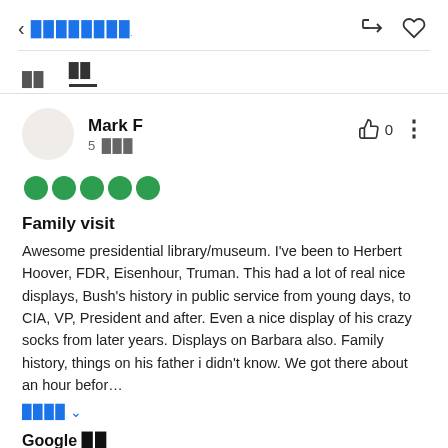< ████████
██  ██
Mark F
5 ███
[Figure (illustration): Five green filled circles representing a 5-star rating]
Family visit
Awesome presidential library/museum. I've been to Herbert Hoover, FDR, Eisenhour, Truman. This had a lot of real nice displays, Bush's history in public service from young days, to CIA, VP, President and after. Even a nice display of his crazy socks from later years. Displays on Barbara also. Family history, things on his father i didn't know. We got there about an hour befor…
████ ∨
Google ██